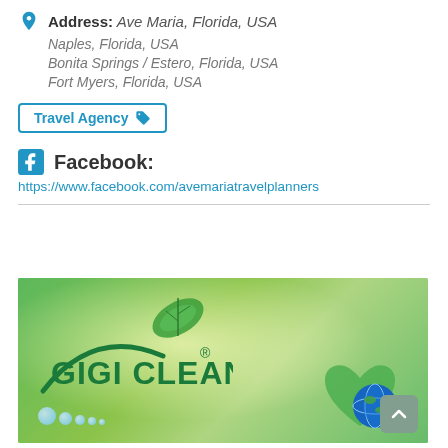Address: Ave Maria, Florida, USA
Naples, Florida, USA
Bonita Springs / Estero, Florida, USA
Fort Myers, Florida, USA
Travel Agency
Facebook:
https://www.facebook.com/avemariatravelplanners
[Figure (logo): Gigi Clean logo with green leaf and bubbles on green nature background with earth globe]